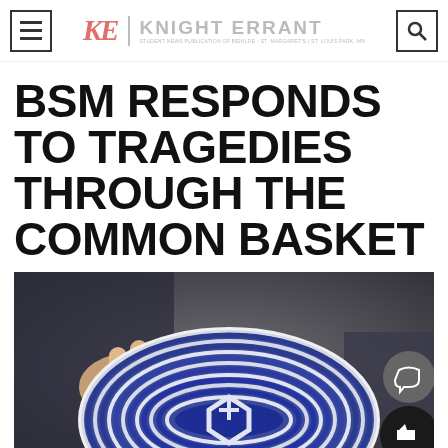Knight Errant — Student News Publication of Benilde-St. Margaret's, St. Louis Park, MN
BSM RESPONDS TO TRAGEDIES THROUGH THE COMMON BASKET
[Figure (photo): Hands holding a round woven basket with blue and white geometric pattern]